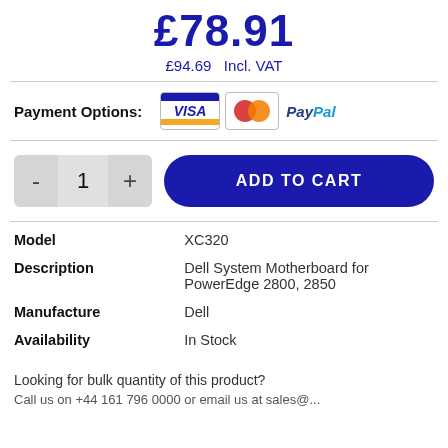£78.91
£94.69  Incl. VAT
Payment Options: [VISA] [MasterCard] [PayPal]
- 1 + ADD TO CART
| Model | XC320 |
| Description | Dell System Motherboard for PowerEdge 2800, 2850 |
| Manufacture | Dell |
| Availability | In Stock |
Looking for bulk quantity of this product?
Call us on +44 161 796 0000 or email us at sales@...